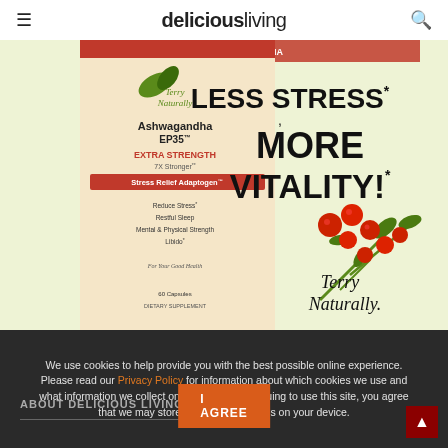deliciousliving
[Figure (photo): Terry Naturally Ashwagandha EP35 Extra Strength advertisement. Shows product box on left side and text 'LESS STRESS, MORE VITALITY!' on right side with ashwagandha berries illustration. Tagline: 'Terry Naturally'. Footer text: '†Compared to an equivalent amount of standard ashwagandha. ^Occasional stress.']
We use cookies to help provide you with the best possible online experience. Please read our Privacy Policy for information about which cookies we use and what information we collect on our site. By continuing to use this site, you agree that we may store and access cookies on your device.
ABOUT DELICIOUS LIVING